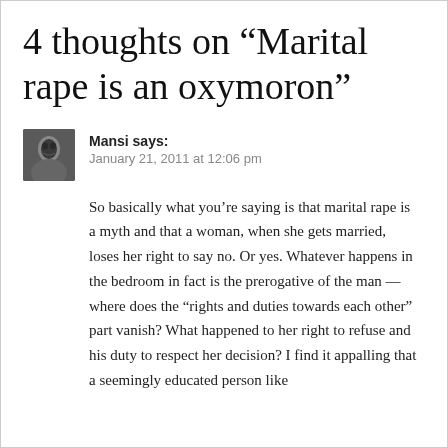4 thoughts on “Marital rape is an oxymoron”
[Figure (photo): Avatar photo of commenter Mansi, a small square profile image showing a person's face]
Mansi says:
January 21, 2011 at 12:06 pm
So basically what you’re saying is that marital rape is a myth and that a woman, when she gets married, loses her right to say no. Or yes. Whatever happens in the bedroom in fact is the prerogative of the man — where does the “rights and duties towards each other” part vanish? What happened to her right to refuse and his duty to respect her decision? I find it appalling that a seemingly educated person like